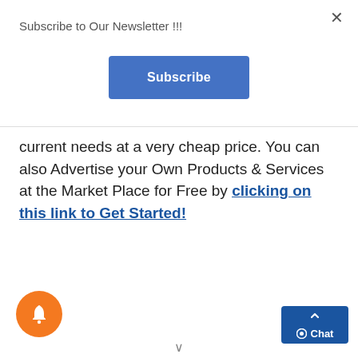Subscribe to Our Newsletter !!!
Subscribe
current needs at a very cheap price. You can also Advertise your Own Products & Services at the Market Place for Free by clicking on this link to Get Started!
[Figure (other): Orange circular bell/notification button]
[Figure (other): Blue chat button with chevron up and chat label]